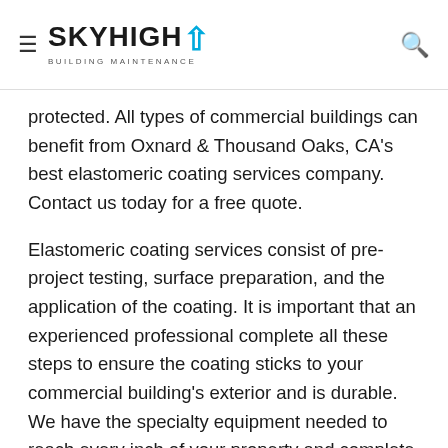SkyHigh Building Maintenance
protected. All types of commercial buildings can benefit from Oxnard & Thousand Oaks, CA's best elastomeric coating services company. Contact us today for a free quote.
Elastomeric coating services consist of pre-project testing, surface preparation, and the application of the coating. It is important that an experienced professional complete all these steps to ensure the coating sticks to your commercial building's exterior and is durable. We have the specialty equipment needed to reach every inch of your property and complete each step with expertise. Once the elastomeric coating has been applied, maintenance and cleaning are as simple as inspecting the coating and rinsing with hose once a year. Elastomeric